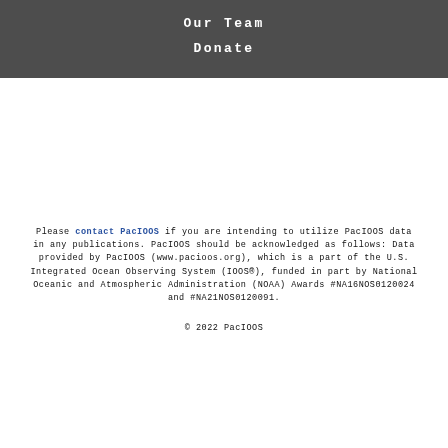Our Team
Donate
Please contact PacIOOS if you are intending to utilize PacIOOS data in any publications. PacIOOS should be acknowledged as follows: Data provided by PacIOOS (www.pacioos.org), which is a part of the U.S. Integrated Ocean Observing System (IOOS®), funded in part by National Oceanic and Atmospheric Administration (NOAA) Awards #NA16NOS0120024 and #NA21NOS0120091.
© 2022 PacIOOS